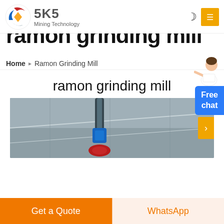[Figure (logo): SKS Mining Technology logo with circular emblem (red, blue, gold) and text 'SKS Mining Technology']
ramon grinding mill
Home > Ramon Grinding Mill
[Figure (illustration): Customer service representative figure pointing, with blue chat button reading 'Free chat']
ramon grinding mill
[Figure (photo): Industrial grinding mill equipment photographed from below, showing machinery components against a ceiling]
Get a Quote
WhatsApp